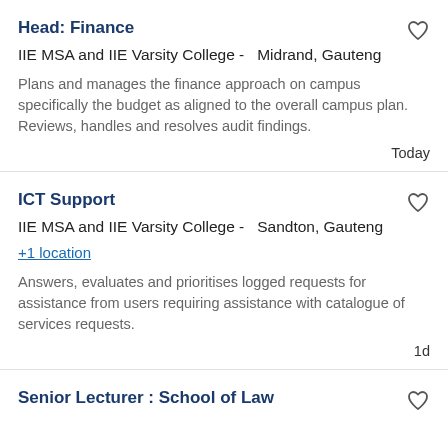Head: Finance
IIE MSA and IIE Varsity College -  Midrand, Gauteng
Plans and manages the finance approach on campus specifically the budget as aligned to the overall campus plan. Reviews, handles and resolves audit findings.
Today
ICT Support
IIE MSA and IIE Varsity College -  Sandton, Gauteng
+1 location
Answers, evaluates and prioritises logged requests for assistance from users requiring assistance with catalogue of services requests.
1d
Senior Lecturer : School of Law